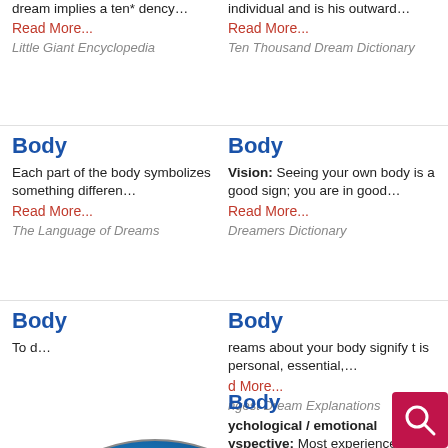dream implies a ten* dency…
Read More...
Little Giant Encyclopedia
individual and is his outward…
Read More...
Ten Thousand Dream Dictionary
Body
Each part of the body symbolizes something differen…
Read More...
The Language of Dreams
Body
Vision: Seeing your own body is a good sign; you are in good…
Read More...
Dreamers Dictionary
Body
To d…
Body
reams about your body signify t is personal, essential,…
d More...
ngest Dream Explanations
Body
ychological / emotional
yspective: Most experience…
Read More...
Dream Meanings of Versatile
Body
[Figure (logo): Dream Encyclopedia globe logo with blue sky and clouds, crescent moon and butterfly, text reading 'Dream Encyclopedia']